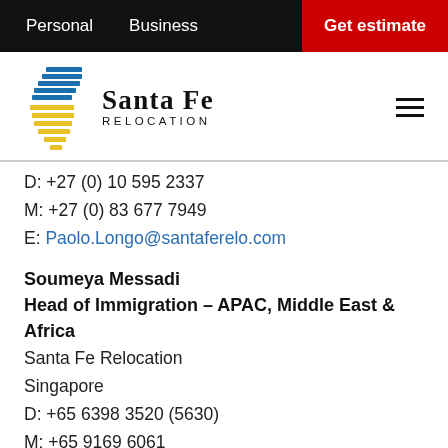Personal   Business   Get estimate
[Figure (logo): Santa Fe Relocation logo with stylized bird/globe icon in blue and yellow stripes]
D: +27 (0) 10 595 2337
M: +27 (0) 83 677 7949
E: Paolo.Longo@santaferelo.com
Soumeya Messadi
Head of Immigration – APAC, Middle East & Africa
Santa Fe Relocation
Singapore
D: +65 6398 3520 (5630)
M: +65 9169 6061
E: Soumeya.Messadi@santaferelo.com